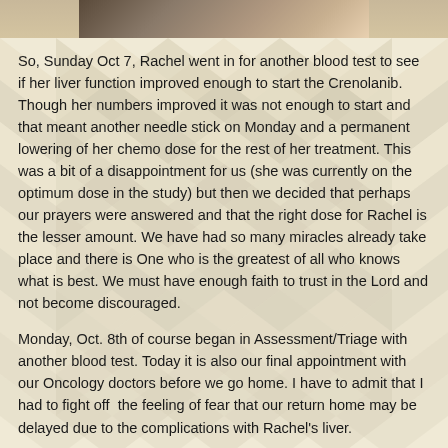[Figure (photo): Partial photo strip at the top of the page showing a person, cropped at the bottom edge of the image strip.]
So, Sunday Oct 7, Rachel went in for another blood test to see if her liver function improved enough to start the Crenolanib.  Though her numbers improved it was not enough to start and that meant another needle stick on Monday and a permanent lowering of her chemo dose for the rest of her treatment.  This was a bit of a disappointment for us (she was currently on the optimum dose in the study) but then we decided that perhaps our prayers were answered and that the right dose for Rachel is the lesser amount.  We have had so many miracles already take place and there is One who is the greatest of all who knows what is best.  We must have enough faith to trust in the Lord and not become discouraged.
Monday, Oct. 8th of course began in Assessment/Triage with another blood test. Today it is also our final appointment with our Oncology doctors before we go home.  I have to admit that I had to fight off  the feeling of fear that our return home may be delayed due to the complications with Rachel's liver.